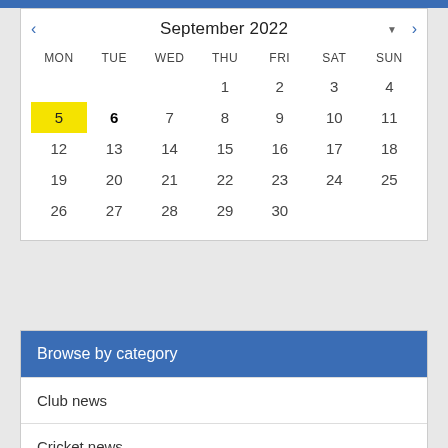[Figure (other): September 2022 calendar widget showing a month view. MON-SUN columns. Day 5 highlighted in yellow. Day 6 in bold. Navigation arrows on left and right of header.]
Browse by category
Club news
Cricket news